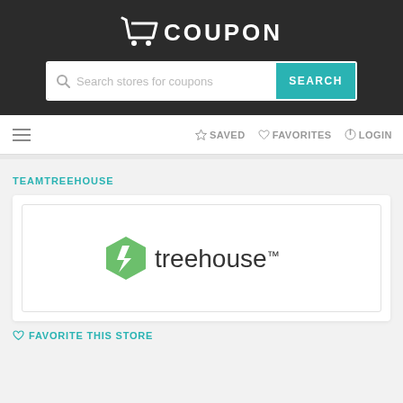COUPON
[Figure (screenshot): Search bar with placeholder text 'Search stores for coupons' and a teal SEARCH button]
SAVED  FAVORITES  LOGIN
TEAMTREEHOUSE
[Figure (logo): Treehouse logo — green hexagon icon with stylized leaf and lightning bolt, beside the text 'treehouse']
FAVORITE THIS STORE